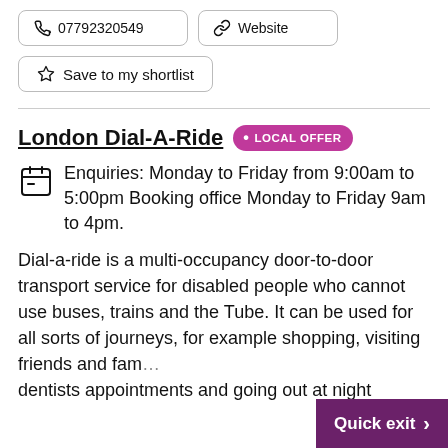📞 07792320549   🔗 Website
☆ Save to my shortlist
London Dial-A-Ride  • LOCAL OFFER
Enquiries: Monday to Friday from 9:00am to 5:00pm Booking office Monday to Friday 9am to 4pm.
Dial-a-ride is a multi-occupancy door-to-door transport service for disabled people who cannot use buses, trains and the Tube. It can be used for all sorts of journeys, for example shopping, visiting friends and fam... dentists appointments and going out at night
Quick exit >